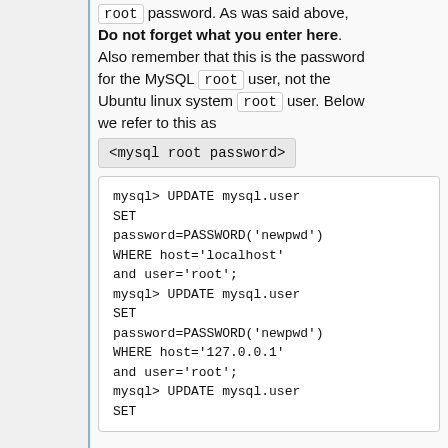root password. As was said above, Do not forget what you enter here. Also remember that this is the password for the MySQL root user, not the Ubuntu linux system root user. Below we refer to this as <mysql root password>
mysql> UPDATE mysql.user SET password=PASSWORD('newpwd') WHERE host='localhost' and user='root'; mysql> UPDATE mysql.user SET password=PASSWORD('newpwd') WHERE host='127.0.0.1' and user='root'; mysql> UPDATE mysql.user SET